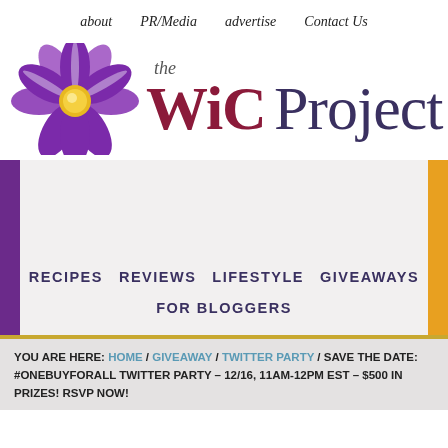about  PR/Media  advertise  Contact Us
[Figure (logo): The WiC Project logo — purple flower with yellow center, text reading 'the WiC Project' in dark red and dark purple serif font]
RECIPES  REVIEWS  LIFESTYLE  GIVEAWAYS  FOR BLOGGERS
YOU ARE HERE: HOME / GIVEAWAY / TWITTER PARTY / SAVE THE DATE: #ONEBUYFORALL TWITTER PARTY – 12/16, 11AM-12PM EST – $500 IN PRIZES! RSVP NOW!